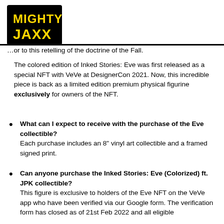[Figure (logo): Mighty Jaxx logo — yellow text on black background with bold stylized lettering]
…or to this retelling of the doctrine of the Fall.
The colored edition of Inked Stories: Eve was first released as a special NFT with VeVe at DesignerCon 2021. Now, this incredible piece is back as a limited edition premium physical figurine exclusively for owners of the NFT.
What can I expect to receive with the purchase of the Eve collectible? Each purchase includes an 8" vinyl art collectible and a framed signed print.
Can anyone purchase the Inked Stories: Eve (Colorized) ft. JPK collectible? This figure is exclusive to holders of the Eve NFT on the VeVe app who have been verified via our Google form. The verification form has closed as of 21st Feb 2022 and all eligible